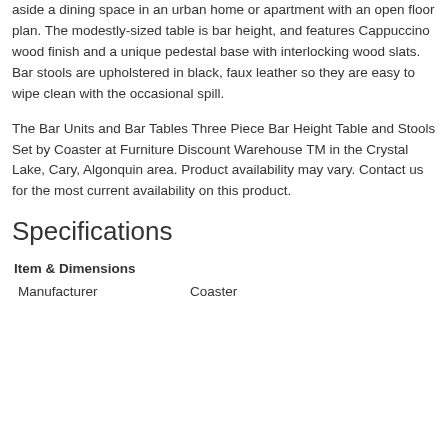aside a dining space in an urban home or apartment with an open floor plan. The modestly-sized table is bar height, and features Cappuccino wood finish and a unique pedestal base with interlocking wood slats. Bar stools are upholstered in black, faux leather so they are easy to wipe clean with the occasional spill.
The Bar Units and Bar Tables Three Piece Bar Height Table and Stools Set by Coaster at Furniture Discount Warehouse TM in the Crystal Lake, Cary, Algonquin area. Product availability may vary. Contact us for the most current availability on this product.
Specifications
Item & Dimensions
|  |  |
| --- | --- |
| Manufacturer | Coaster |